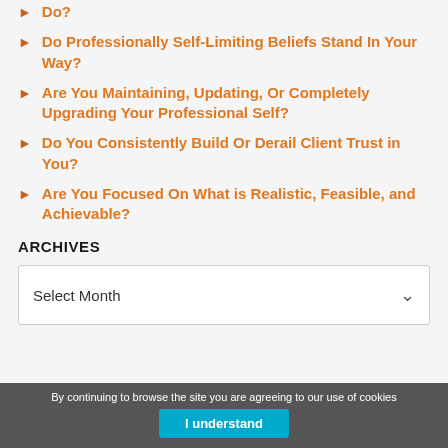Do?
Do Professionally Self-Limiting Beliefs Stand In Your Way?
Are You Maintaining, Updating, Or Completely Upgrading Your Professional Self?
Do You Consistently Build Or Derail Client Trust in You?
Are You Focused On What is Realistic, Feasible, and Achievable?
ARCHIVES
Select Month
By continuing to browse the site you are agreeing to our use of cookies  I understand